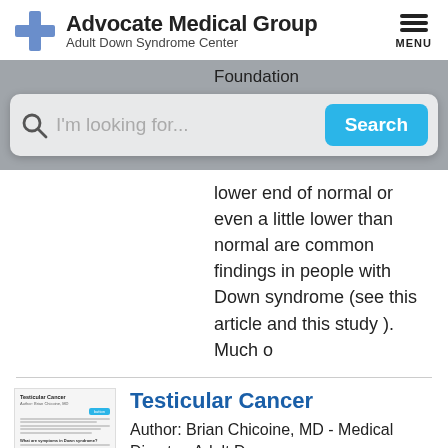[Figure (logo): Advocate Medical Group logo with blue cross icon]
Advocate Medical Group
Adult Down Syndrome Center
Foundation
I'm looking for...
Search
lower end of normal or even a little lower than normal are common findings in people with Down syndrome (see this article and this study ). Much o
Testicular Cancer
Author: Brian Chicoine, MD - Medical Director, Adult Down